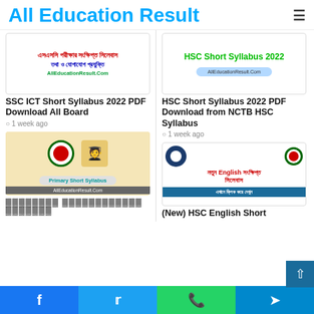All Education Result
[Figure (screenshot): SSC ICT Short Syllabus thumbnail with Bengali text and AllEducationResult.Com URL]
SSC ICT Short Syllabus 2022 PDF Download All Board
1 week ago
[Figure (screenshot): HSC Short Syllabus 2022 thumbnail with green text and AllEducationResult.Com pill]
HSC Short Syllabus 2022 PDF Download from NCTB HSC Syllabus
1 week ago
[Figure (screenshot): Primary Short Syllabus thumbnail with Bangladesh government seals]
(Bengali characters - Primary Short Syllabus title)
[Figure (screenshot): HSC English Short Syllabus thumbnail with university and Bangladesh logos and Bengali text]
(New) HSC English Short Syllabus 2022 (partial)